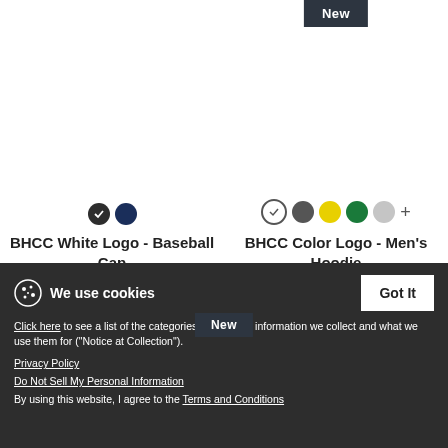[Figure (other): New badge label in dark color for BHCC Color Logo Men's Hoodie product]
BHCC White Logo - Baseball Cap
$15.49
BHCC Color Logo - Men's Hoodie
$27.49
We use cookies
Click here to see a list of the categories of personal information we collect and what we use them for ("Notice at Collection").
Privacy Policy
Do Not Sell My Personal Information
By using this website, I agree to the Terms and Conditions